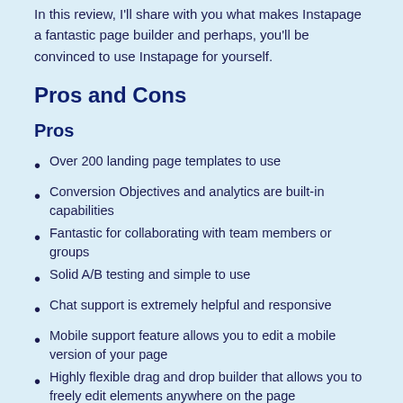In this review, I'll share with you what makes Instapage a fantastic page builder and perhaps, you'll be convinced to use Instapage for yourself.
Pros and Cons
Pros
Over 200 landing page templates to use
Conversion Objectives and analytics are built-in capabilities
Fantastic for collaborating with team members or groups
Solid A/B testing and simple to use
Chat support is extremely helpful and responsive
Mobile support feature allows you to edit a mobile version of your page
Highly flexible drag and drop builder that allows you to freely edit elements anywhere on the page
Cons